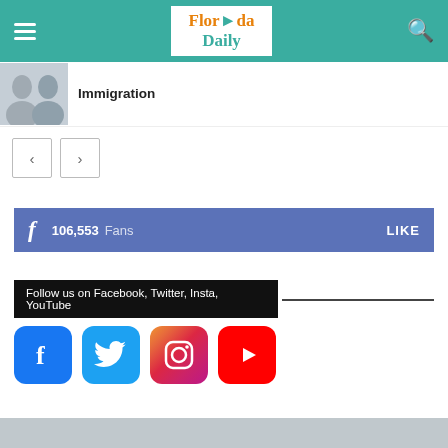Florida Daily
Immigration
106,553  Fans  LIKE
Follow us on Facebook, Twitter, Insta, YouTube
[Figure (infographic): Social media icons: Facebook (blue), Twitter (blue), Instagram (gradient pink/purple), YouTube (red)]